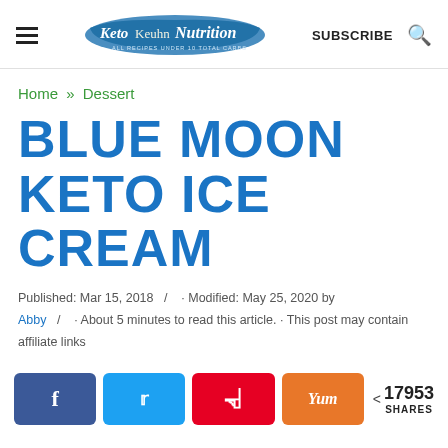Keto Keuhn Nutrition — ALL RECIPES UNDER 10 TOTAL CARBS | SUBSCRIBE
Home » Dessert
BLUE MOON KETO ICE CREAM
Published: Mar 15, 2018 / · Modified: May 25, 2020 by Abby / · About 5 minutes to read this article. · This post may contain affiliate links
[Figure (infographic): Social share buttons: Facebook, Twitter, Pinterest, Yum. Share count: 17953 SHARES]